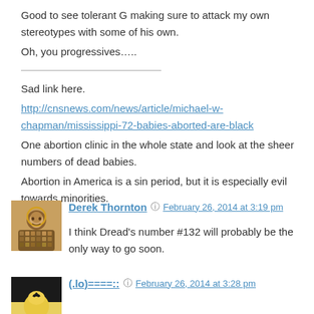Good to see tolerant G making sure to attack my own stereotypes with some of his own.
Oh, you progressives…..
Sad link here.
http://cnsnews.com/news/article/michael-w-chapman/mississippi-72-babies-aborted-are-black
One abortion clinic in the whole state and look at the sheer numbers of dead babies.
Abortion in America is a sin period, but it is especially evil towards minorities.
Derek Thornton — February 26, 2014 at 3:19 pm
I think Dread's number #132 will probably be the only way to go soon.
(.lo)====:: — February 26, 2014 at 3:28 pm